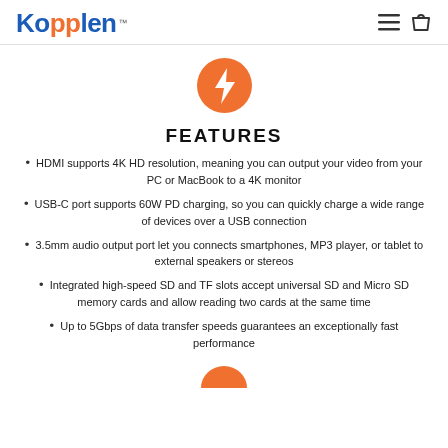Kopplen™
[Figure (illustration): Orange circle with white lightning bolt icon]
FEATURES
HDMI supports 4K HD resolution, meaning you can output your video from your PC or MacBook to a 4K monitor
USB-C port supports 60W PD charging, so you can quickly charge a wide range of devices over a USB connection
3.5mm audio output port let you connects smartphones, MP3 player, or tablet to external speakers or stereos
Integrated high-speed SD and TF slots accept universal SD and Micro SD memory cards and allow reading two cards at the same time
Up to 5Gbps of data transfer speeds guarantees an exceptionally fast performance
[Figure (illustration): Partial orange circle visible at bottom of page]